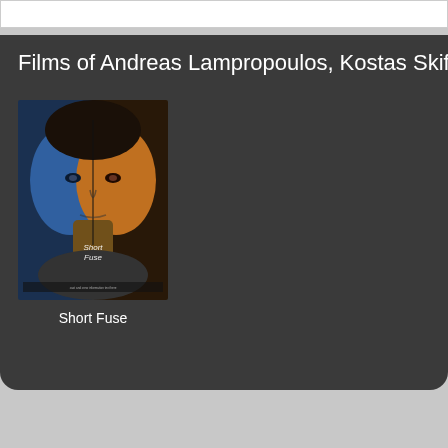Films of Andreas Lampropoulos, Kostas Skifta…
[Figure (photo): Movie poster for 'Short Fuse' showing a split-face portrait of a young man, half in blue lighting and half in orange/warm lighting, with the title 'Short Fuse' written in stylized text in the lower center of the poster]
Short Fuse
[Figure (photo): Partial view of another movie entry below, showing a dark red/maroon colored left panel and a gray right panel]